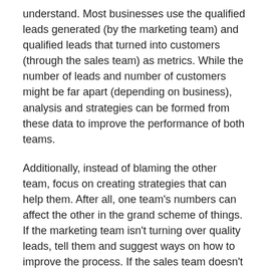understand. Most businesses use the qualified leads generated (by the marketing team) and qualified leads that turned into customers (through the sales team) as metrics. While the number of leads and number of customers might be far apart (depending on business), analysis and strategies can be formed from these data to improve the performance of both teams.
Additionally, instead of blaming the other team, focus on creating strategies that can help them. After all, one team's numbers can affect the other in the grand scheme of things. If the marketing team isn't turning over quality leads, tell them and suggest ways on how to improve the process. If the sales team doesn't nurture the leads enough, it doesn't matter how many leads the marketing team turned over.
Create lines of communications between the two teams